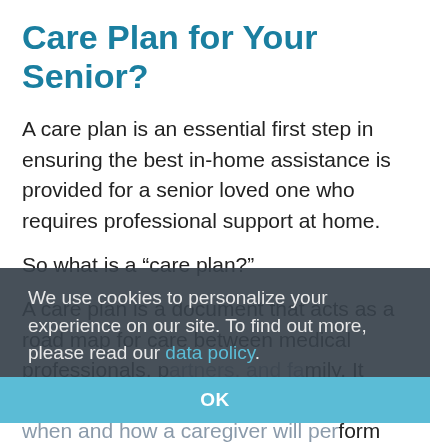Care Plan for Your Senior?
A care plan is an essential first step in ensuring the best in-home assistance is provided for a senior loved one who requires professional support at home.
So what is a “care plan?”
A care plan is a document that acts as a road map for care between medical professionals, p[artners, and] family. It outlines when and how a caregiver will perform specific tasks to meet your loved one’s needs. Tasks may include personal care assistance with grooming, activities, mobility, transportation, and household tasks.
We use cookies to personalize your experience on our site. To find out more, please read our data policy.
OK